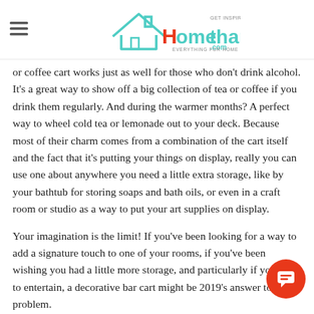Homethangs.com — GET INSPIRED EVERYTHING FOR HOME
or coffee cart works just as well for those who don't drink alcohol. It's a great way to show off a big collection of tea or coffee if you drink them regularly. And during the warmer months? A perfect way to wheel cold tea or lemonade out to your deck. Because most of their charm comes from a combination of the cart itself and the fact that it's putting your things on display, really you can use one about anywhere you need a little extra storage, like by your bathtub for storing soaps and bath oils, or even in a craft room or studio as a way to put your art supplies on display.
Your imagination is the limit! If you've been looking for a way to add a signature touch to one of your rooms, if you've been wishing you had a little more storage, and particularly if you love to entertain, a decorative bar cart might be 2019's answer to your problem.